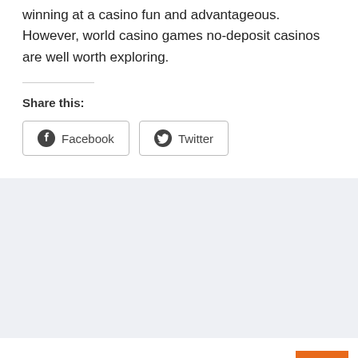winning at a casino fun and advantageous. However, world casino games no-deposit casinos are well worth exploring.
Share this:
[Figure (other): Social share buttons for Facebook and Twitter]
Quick Links
Shop